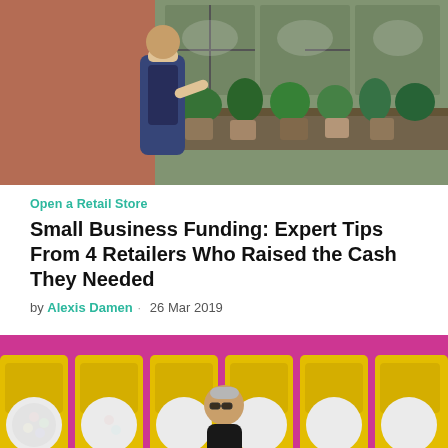[Figure (photo): A man in an apron arranging plants outside a brick-walled retail store with 'Goods' signage visible in the windows]
Open a Retail Store
Small Business Funding: Expert Tips From 4 Retailers Who Raised the Cash They Needed
by Alexis Damen · 26 Mar 2019
[Figure (photo): A woman with short gray hair and glasses in a black dress standing in front of bright pink and yellow candy/gumball machine displays]